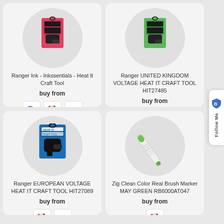[Figure (photo): Product image of Ranger Ink Inkssentials Heat It Craft Tool with red packaging, shown in a grey circle]
Ranger Ink - Inkssentials - Heat It Craft Tool
buy from
[Figure (logo): Vendor logos: Scrapbook.com (colorful S), small dog logo, R logo]
[Figure (photo): Product image of Ranger UNITED KINGDOM VOLTAGE HEAT IT CRAFT TOOL HIT27485 with green packaging, shown in a grey circle]
Ranger UNITED KINGDOM VOLTAGE HEAT IT CRAFT TOOL HIT27485
buy from
[Figure (logo): Vendor logos: small dog logo, R logo]
[Figure (photo): Product image of Ranger EUROPEAN VOLTAGE HEAT IT CRAFT TOOL HIT27089 with blue packaging and heat gun, shown in a grey circle]
Ranger EUROPEAN VOLTAGE HEAT IT CRAFT TOOL HIT27089
buy from
[Figure (photo): Product image of Zig Clean Color Real Brush Marker MAY GREEN RB6000AT047 - a white marker with green tip, shown in a grey circle]
Zig Clean Color Real Brush Marker MAY GREEN RB6000AT047
buy from